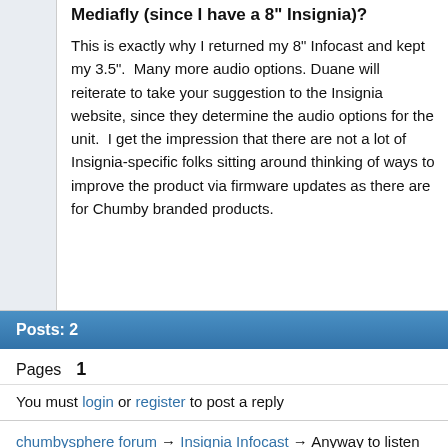Mediafly (since I have a 8" Insignia)?
This is exactly why I returned my 8" Infocast and kept my 3.5".  Many more audio options. Duane will reiterate to take your suggestion to the Insignia website, since they determine the audio options for the unit.  I get the impression that there are not a lot of Insignia-specific folks sitting around thinking of ways to improve the product via firmware updates as there are for Chumby branded products.
Posts: 2
Pages   1
You must login or register to post a reply
chumbysphere forum → Insignia Infocast → Anyway to listen to podcast w/o Mediafly (since I have a 8" Insignia)?
Powered by PunBB, supported by Informer Technologies, Inc.